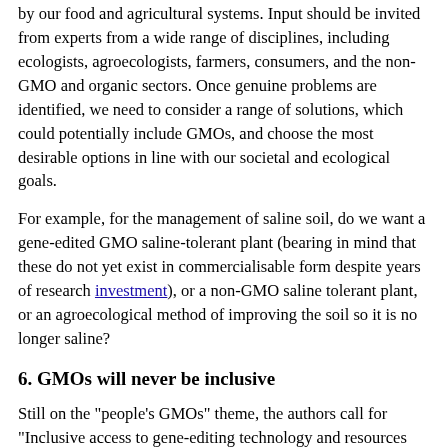by our food and agricultural systems. Input should be invited from experts from a wide range of disciplines, including ecologists, agroecologists, farmers, consumers, and the non-GMO and organic sectors. Once genuine problems are identified, we need to consider a range of solutions, which could potentially include GMOs, and choose the most desirable options in line with our societal and ecological goals.
For example, for the management of saline soil, do we want a gene-edited GMO saline-tolerant plant (bearing in mind that these do not yet exist in commercialisable form despite years of research investment), or a non-GMO saline tolerant plant, or an agroecological method of improving the soil so it is no longer saline?
6. GMOs will never be inclusive
Still on the "people's GMOs" theme, the authors call for "Inclusive access to gene-editing technology and resources can help drive societal benefit".
While it's fine to dream, the authors should make themselves aware of research, such as that in a recent Testbiotech report, showing that Corteva controls most patents on CRISPR gene editing, giving it almost monopolistic control over the technology as it's applied in agriculture.